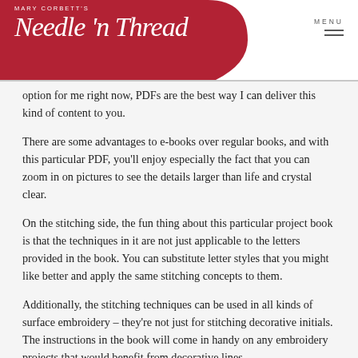Mary Corbett's Needle 'n Thread
option for me right now, PDFs are the best way I can deliver this kind of content to you.
There are some advantages to e-books over regular books, and with this particular PDF, you'll enjoy especially the fact that you can zoom in on pictures to see the details larger than life and crystal clear.
On the stitching side, the fun thing about this particular project book is that the techniques in it are not just applicable to the letters provided in the book. You can substitute letter styles that you might like better and apply the same stitching concepts to them.
Additionally, the stitching techniques can be used in all kinds of surface embroidery – they're not just for stitching decorative initials. The instructions in the book will come in handy on any embroidery projects that would benefit from decorative lines.